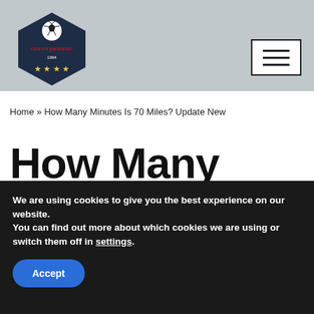[Figure (logo): Soccer/football website logo with dark navy hexagon shape, soccer ball icon at top, red text 'countrywinster', '1994' text, and four gold stars at the bottom, on a grey background.]
[Figure (other): Navigation menu hamburger button — three horizontal lines inside a white rectangle with dark border.]
Home » How Many Minutes Is 70 Miles? Update New
How Many Minutes Is 70
We are using cookies to give you the best experience on our website.
You can find out more about which cookies we are using or switch them off in settings.
Accept